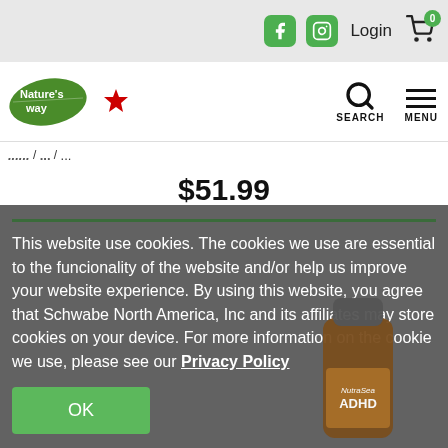Login | Cart (0)
[Figure (logo): Nature's Way Canada logo with maple leaf]
$51.99
This website use cookies. The cookies we use are essential to the funcionality of the website and/or help us improve your website experience. By using this website, you agree that Schwabe North America, Inc and its affiliates may store cookies on your device. For more information on the cookie we use, please see our Privacy Policy
OK